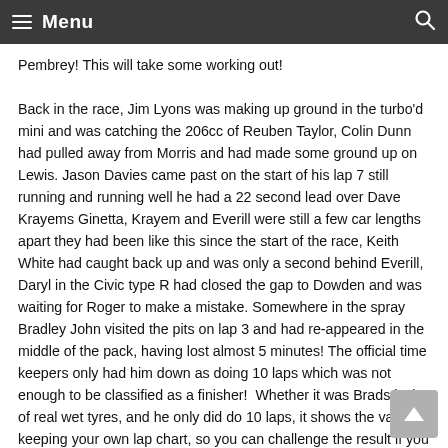Menu
Pembrey! This will take some working out!

Back in the race, Jim Lyons was making up ground in the turbo'd mini and was catching the 206cc of Reuben Taylor, Colin Dunn had pulled away from Morris and had made some ground up on Lewis. Jason Davies came past on the start of his lap 7 still running and running well he had a 22 second lead over Dave Krayems Ginetta, Krayem and Everill were still a few car lengths apart they had been like this since the start of the race, Keith White had caught back up and was only a second behind Everill, Daryl in the Civic type R had closed the gap to Dowden and was waiting for Roger to make a mistake. Somewhere in the spray Bradley John visited the pits on lap 3 and had re-appeared in the middle of the pack, having lost almost 5 minutes! The official time keepers only had him down as doing 10 laps which was not enough to be classified as a finisher!  Whether it was Brads lack of real wet tyres, and he only did do 10 laps, it shows the value of keeping your own lap chart, so you can challenge the result if you need to! Back in the race, Jason